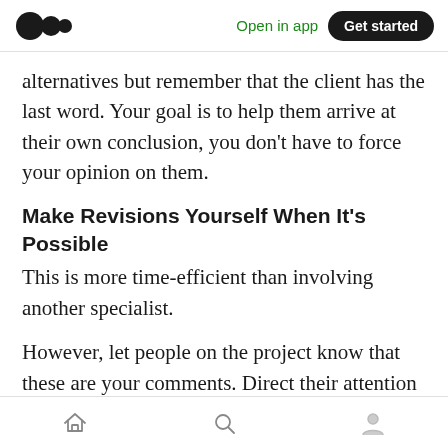Open in app  Get started
alternatives but remember that the client has the last word. Your goal is to help them arrive at their own conclusion, you don't have to force your opinion on them.
Make Revisions Yourself When It's Possible
This is more time-efficient than involving another specialist.
However, let people on the project know that these are your comments. Direct their attention to a mistake or offer a possible solution in case a similar problem happens.
Home  Search  Profile